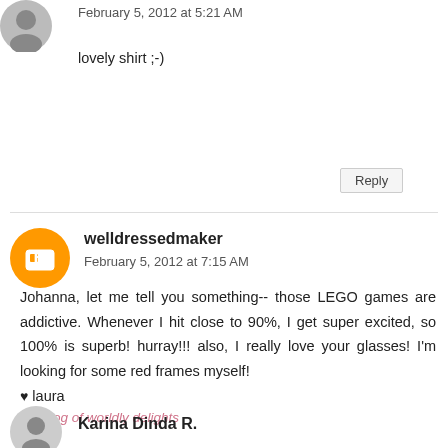February 5, 2012 at 5:21 AM
lovely shirt ;-)
Reply
welldressedmaker
February 5, 2012 at 7:15 AM
Johanna, let me tell you something-- those LEGO games are addictive. Whenever I hit close to 90%, I get super excited, so 100% is superb! hurray!!! also, I really love your glasses! I'm looking for some red frames myself!
♥ laura
the blog of worldly delights
Reply
Karina Dinda R.